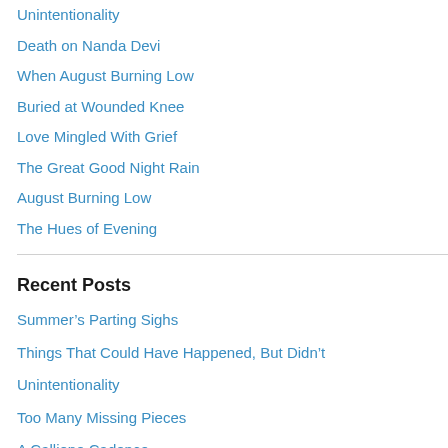Unintentionality
Death on Nanda Devi
When August Burning Low
Buried at Wounded Knee
Love Mingled With Grief
The Great Good Night Rain
August Burning Low
The Hues of Evening
Recent Posts
Summer’s Parting Sighs
Things That Could Have Happened, But Didn’t
Unintentionality
Too Many Missing Pieces
A Calliope Cadence
Recent Comments